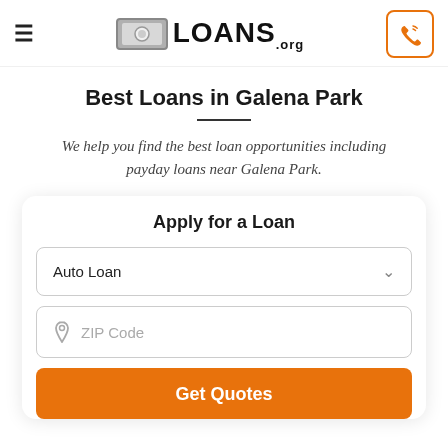LOANS.org
Best Loans in Galena Park
We help you find the best loan opportunities including payday loans near Galena Park.
Apply for a Loan
Auto Loan
ZIP Code
Get Quotes